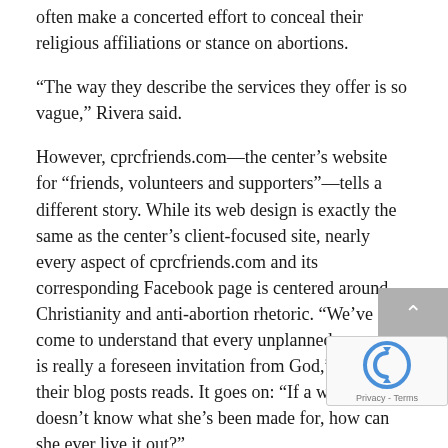often make a concerted effort to conceal their religious affiliations or stance on abortions.
“The way they describe the services they offer is so vague,” Rivera said.
However, cprcfriends.com—the center’s website for “friends, volunteers and supporters”—tells a different story. While its web design is exactly the same as the center’s client-focused site, nearly every aspect of cprcfriends.com and its corresponding Facebook page is centered around Christianity and anti-abortion rhetoric. “We’ve come to understand that every unplanned pregnancy is really a foreseen invitation from God,” one of their blog posts reads. It goes on: “If a woman doesn’t know what she’s been made for, how can she ever live it out?”
CPRC is partially funded through donations from local churches. According to public tax records, all of its income